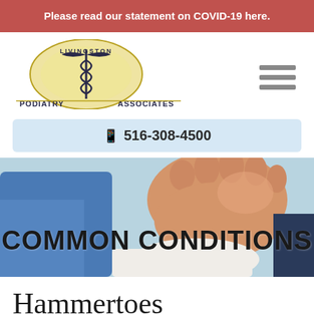Please read our statement on COVID-19 here.
[Figure (logo): Livingston Podiatry Associates logo with caduceus symbol and circular gold/yellow design]
📞 516-308-4500
[Figure (photo): Photo of a foot with bandaged ankle/heel being held, with a medical professional in blue scrubs visible in background. Overlay text reads COMMON CONDITIONS]
COMMON CONDITIONS
Hammertoes